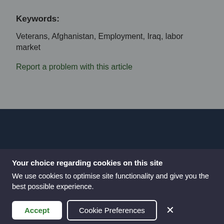Keywords:
Veterans, Afghanistan, Employment, Iraq, labor market
Report a problem with this article
Your choice regarding cookies on this site
We use cookies to optimise site functionality and give you the best possible experience.